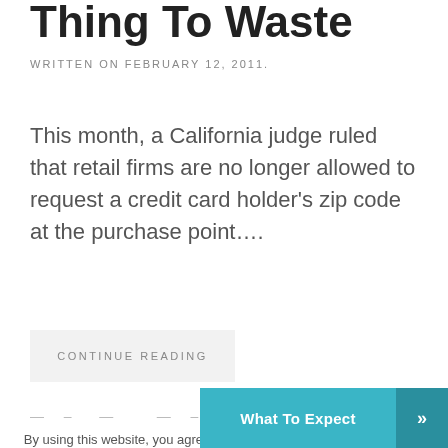Thing To Waste
WRITTEN ON FEBRUARY 12, 2011.
This month, a California judge ruled that retail firms are no longer allowed to request a credit card holder's zip code at the purchase point....
CONTINUE READING
— — — — — — — — — —
By using this website, you agree to the use of cookies as described in our Privacy Policy.
What To Expect »